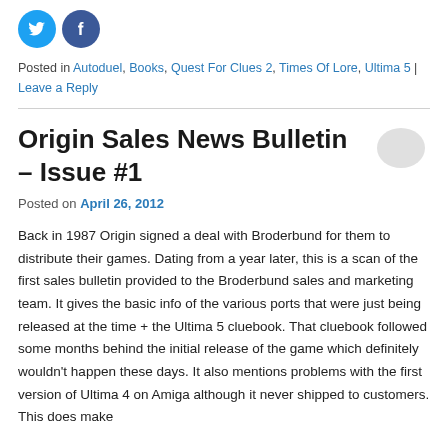[Figure (illustration): Two circular social media share buttons — Twitter (blue bird) and Facebook (blue thumbs up)]
Posted in Autoduel, Books, Quest For Clues 2, Times Of Lore, Ultima 5 | Leave a Reply
Origin Sales News Bulletin – Issue #1
[Figure (illustration): Speech bubble / comment icon in light gray]
Posted on April 26, 2012
Back in 1987 Origin signed a deal with Broderbund for them to distribute their games. Dating from a year later, this is a scan of the first sales bulletin provided to the Broderbund sales and marketing team. It gives the basic info of the various ports that were just being released at the time + the Ultima 5 cluebook. That cluebook followed some months behind the initial release of the game which definitely wouldn't happen these days. It also mentions problems with the first version of Ultima 4 on Amiga although it never shipped to customers. This does make